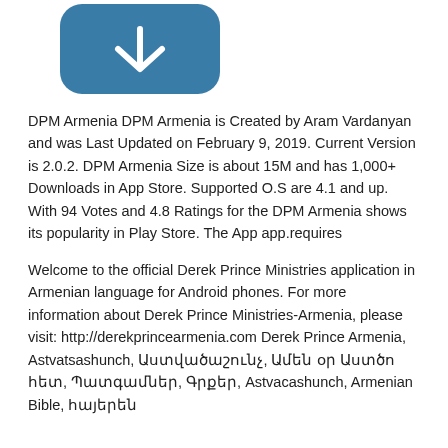[Figure (logo): App icon with rounded rectangle shape in steel blue color with a white downward arrow/chevron symbol]
DPM Armenia DPM Armenia is Created by Aram Vardanyan and was Last Updated on February 9, 2019. Current Version is 2.0.2. DPM Armenia Size is about 15M and has 1,000+ Downloads in App Store. Supported O.S are 4.1 and up. With 94 Votes and 4.8 Ratings for the DPM Armenia shows its popularity in Play Store. The App app.requires
Welcome to the official Derek Prince Ministries application in Armenian language for Android phones. For more information about Derek Prince Ministries-Armenia, please visit: http://derekprincearmenia.com Derek Prince Armenia, Astvatsashunch, Աստվածաշունչ, Ամեն օր Աստծո հետ, Պատգամներ, Գրքեր, Astvacashunch, Armenian Bible, հայերեն